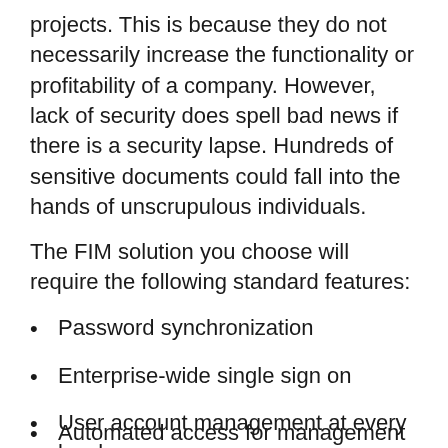projects. This is because they do not necessarily increase the functionality or profitability of a company. However, lack of security does spell bad news if there is a security lapse. Hundreds of sensitive documents could fall into the hands of unscrupulous individuals.
The FIM solution you choose will require the following standard features:
Password synchronization
Enterprise-wide single sign on
User account management at every level
Automated access for management